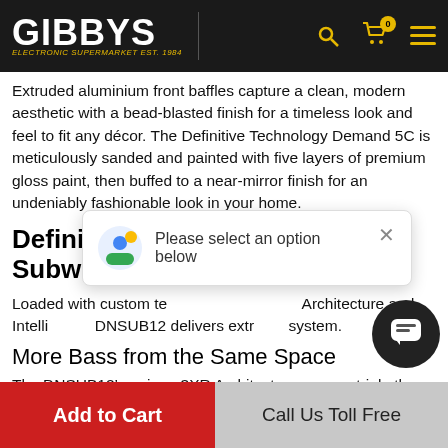GIBBYS — ELECTRONIC SUPERMARKET EST. 1984
Extruded aluminium front baffles capture a clean, modern aesthetic with a bead-blasted finish for a timeless look and feel to fit any décor. The Definitive Technology Demand 5C is meticulously sanded and painted with five layers of premium gloss paint, then buffed to a near-mirror finish for an undeniably fashionable look in your home.
Definitive Technology DN 12 12″ Subwoofer – Black
Loaded with custom te… Architecture and Intelli… DNSUB12 delivers extr… system.
More Bass from the Same Space
The DNSUB12's unique 3XR Architecture prov… triple the bass-producing surface area of a
Please select an option below
Add to Cart
Call Us Toll Free